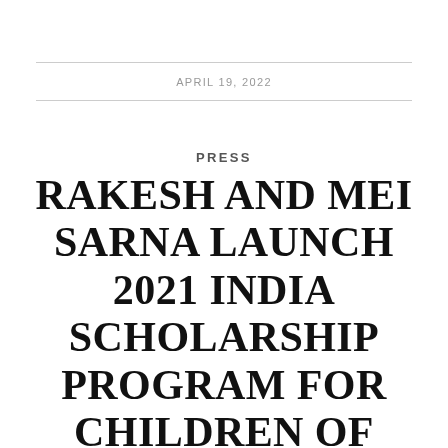APRIL 19, 2022
PRESS
RAKESH AND MEI SARNA LAUNCH 2021 INDIA SCHOLARSHIP PROGRAM FOR CHILDREN OF HYATT AND TAJ EMPLOYEES IN INDIA